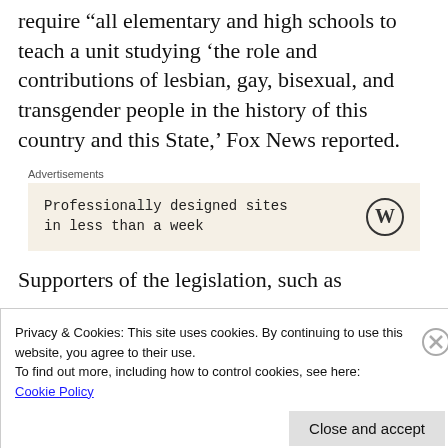require “all elementary and high schools to teach a unit studying ‘the role and contributions of lesbian, gay, bisexual, and transgender people in the history of this country and this State,’ Fox News reported.
[Figure (other): Advertisement box with WordPress logo. Text: 'Professionally designed sites in less than a week'. Labeled 'Advertisements'.]
Supporters of the legislation, such as
Privacy & Cookies: This site uses cookies. By continuing to use this website, you agree to their use.
To find out more, including how to control cookies, see here:
Cookie Policy
Close and accept